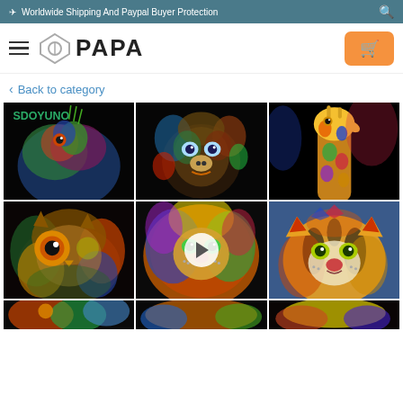Worldwide Shipping And Paypal Buyer Protection
[Figure (logo): PAPA brand logo with diamond icon]
Back to category
[Figure (photo): Colorful iguana/lizard painting on black background with SDOYUNO text]
[Figure (photo): Colorful monkey/chimp face painting on black background]
[Figure (photo): Colorful giraffe painting on black background]
[Figure (photo): Colorful owl close-up painting]
[Figure (photo): Colorful lion face painting with video play button overlay]
[Figure (photo): Colorful tiger face painting on blue background]
[Figure (photo): Colorful abstract animal painting - partial, bottom row]
[Figure (photo): Colorful animal painting - partial, bottom row]
[Figure (photo): Colorful animal painting - partial, bottom row]